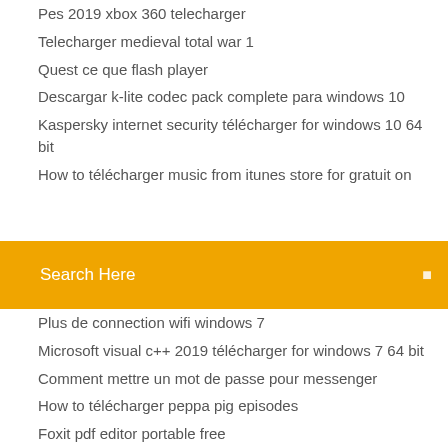Pes 2019 xbox 360 telecharger
Telecharger medieval total war 1
Quest ce que flash player
Descargar k-lite codec pack complete para windows 10
Kaspersky internet security télécharger for windows 10 64 bit
How to télécharger music from itunes store for gratuit on
Search Here
Plus de connection wifi windows 7
Microsoft visual c++ 2019 télécharger for windows 7 64 bit
Comment mettre un mot de passe pour messenger
How to télécharger peppa pig episodes
Foxit pdf editor portable free
Format factory télécharger gratuit for windows 10
Comment créer une page google pour son entreprise
Chromium web browser télécharger for ubuntu
Baixar adobe flash player android 2019
Devis et facture gratuit auto entrepreneur